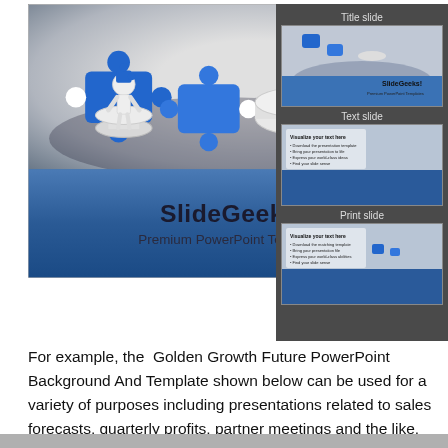[Figure (screenshot): Screenshot of a SlideGeeks PowerPoint template product page showing a 3D puzzle pieces presentation slide with blue puzzle pieces and a figure on a pedestal. On the right side are three thumbnail previews labeled 'Title slide', 'Text slide', and 'Print slide'. The main slide features the text 'SlideGeeks! Premium PowerPoint Templates' on a blue gradient background.]
For example, the  Golden Growth Future PowerPoint Background And Template shown below can be used for a variety of purposes including presentations related to sales forecasts, quarterly profits, partner meetings and the like. You can download SlideGeeks Premium PowerPoint templates and backgrounds and find a good SlideGeeks review.